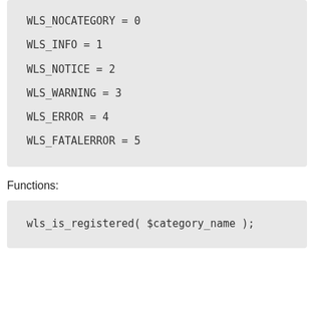WLS_NOCATEGORY = 0
WLS_INFO = 1
WLS_NOTICE = 2
WLS_WARNING = 3
WLS_ERROR = 4
WLS_FATALERROR = 5
Functions:
wls_is_registered( $category_name );